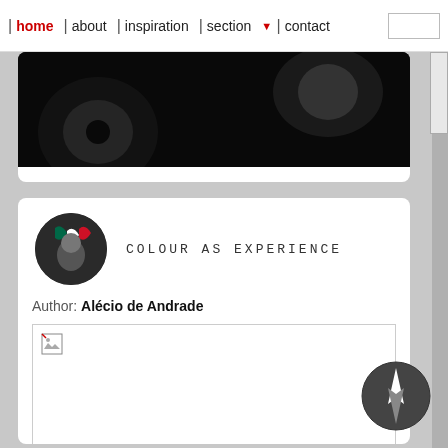| home | about | inspiration | section ▼ | contact
[Figure (photo): Partial black and white photograph visible at top of page, appears to show a mechanical or vehicular subject]
[Figure (photo): Circular avatar image showing a figure with Mexican flag colors (green, white, red), associated with blog 'Colour as Experience']
COLOUR AS EXPERIENCE
Author: Alécio de Andrade
[Figure (photo): Broken/unloaded image placeholder with small broken image icon in top-left corner]